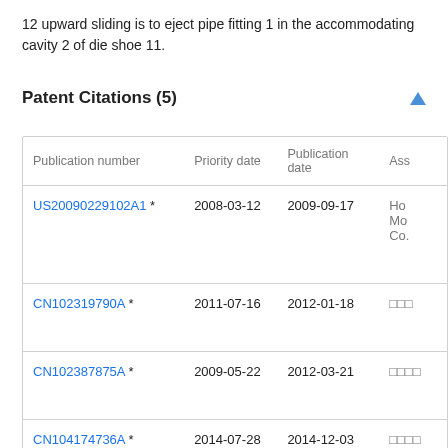12 upward sliding is to eject pipe fitting 1 in the accommodating cavity 2 of die shoe 11.
Patent Citations (5)
| Publication number | Priority date | Publication date | Ass |
| --- | --- | --- | --- |
| US20090229102A1 * | 2008-03-12 | 2009-09-17 | Ho Mo Co. |
| CN102319790A * | 2011-07-16 | 2012-01-18 | □□□ |
| CN102387875A * | 2009-05-22 | 2012-03-21 | □□□□ |
| CN104174736A * | 2014-07-28 | 2014-12-03 | □□□□ |